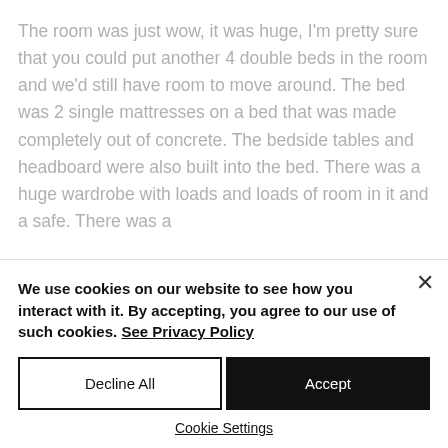The room was just wow, it was huge, I'm pretty sure that you could put another 4 double beds in the room and we'd still have room to move around. The bed was 2 single mattresses on a bed that was made completely out of concrete. The bedside tables and headboard were also built into the bed. There was a huge wardrobe with loads and loads of room in it and a safe. There was a
We use cookies on our website to see how you interact with it. By accepting, you agree to our use of such cookies. See Privacy Policy
Decline All
Accept
Cookie Settings